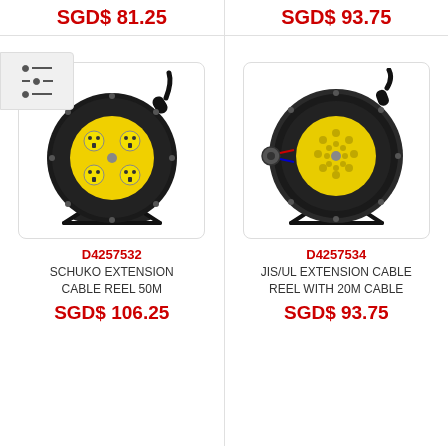SGD$ 81.25
SGD$ 93.75
[Figure (photo): Schuko extension cable reel with black housing and yellow multi-socket face]
D4257532
SCHUKO EXTENSION CABLE REEL 50M
SGD$ 106.25
[Figure (photo): JIS/UL extension cable reel with black housing and yellow perforated face]
D4257534
JIS/UL EXTENSION CABLE REEL WITH 20M CABLE
SGD$ 93.75